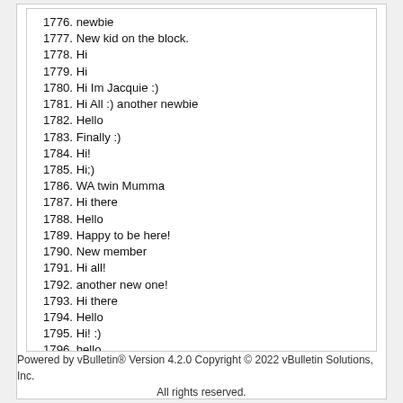1776. newbie
1777. New kid on the block.
1778. Hi
1779. Hi
1780. Hi Im Jacquie :)
1781. Hi All :) another newbie
1782. Hello
1783. Finally :)
1784. Hi!
1785. Hi;)
1786. WA twin Mumma
1787. Hi there
1788. Hello
1789. Happy to be here!
1790. New member
1791. Hi all!
1792. another new one!
1793. Hi there
1794. Hello
1795. Hi! :)
1796. hello
1797. Hello!
1798. Hi
1799. New Here :)
1800. hi!
Powered by vBulletin® Version 4.2.0 Copyright © 2022 vBulletin Solutions, Inc. All rights reserved.